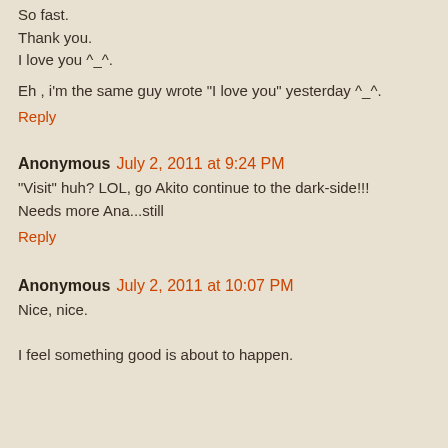So fast.
Thank you.
I love you ^_^.
Eh , i'm the same guy wrote "I love you" yesterday ^_^.
Reply
Anonymous July 2, 2011 at 9:24 PM
"Visit" huh? LOL, go Akito continue to the dark-side!!!
Needs more Ana...still
Reply
Anonymous July 2, 2011 at 10:07 PM
Nice, nice.

I feel something good is about to happen.